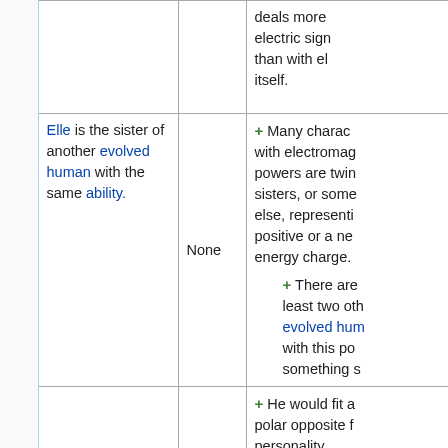|  |  |  | deals more... electric sign... than with el... itself. |
|  | Elle is the sister of another evolved human with the same ability. | None | + Many charac... with electromag... powers are twin... sisters, or some... else, representi... positive or a ne... energy charge.
+ There are... least two oth... evolved hum... with this po... something s... |
|  |  |  | + He would fit a... polar opposite f... personality. |